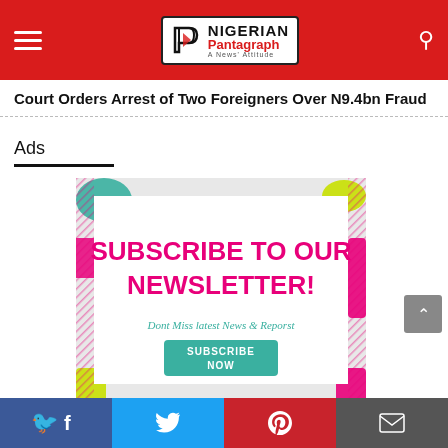Nigerian Pantagraph - A News' Attitude
Court Orders Arrest of Two Foreigners Over N9.4bn Fraud
Ads
[Figure (infographic): Subscribe to our newsletter advertisement banner with colorful decorative border, pink bold text reading SUBSCRIBE TO OUR NEWSLETTER!, teal italic text Dont Miss latest News & Reporst, and a teal SUBSCRIBE NOW button]
Social share bar: Facebook, Twitter, Pinterest, Email